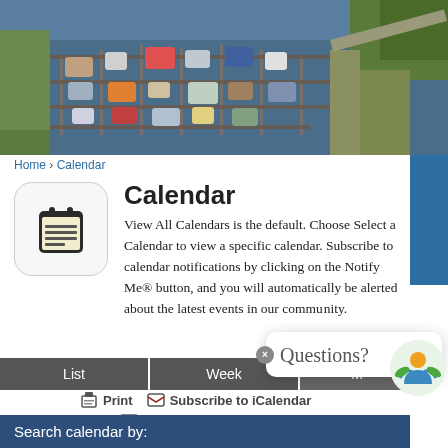[Figure (photo): Aerial photograph of a marina with many boats docked at piers, viewed from above]
Home › Calendar
[Figure (illustration): Calendar icon with rounded corners, showing a notebook/calendar graphic with horizontal lines]
Calendar
View All Calendars is the default. Choose Select a Calendar to view a specific calendar. Subscribe to calendar notifications by clicking on the Notify Me® button, and you will automatically be alerted about the latest events in our community.
List | Week | [third tab partially visible]
Print | Subscribe to iCalendar | Find a Facility | Notify Me®
Search calendar by:
Questions?